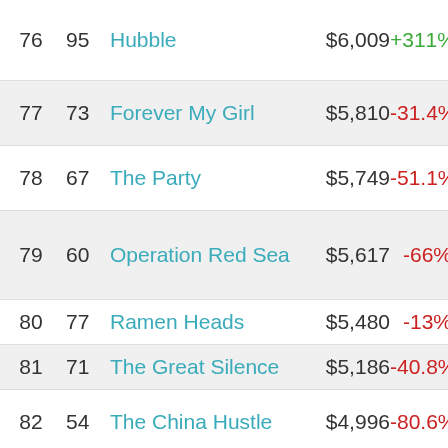| Rank | Prev | Title | Gross | Change |
| --- | --- | --- | --- | --- |
| 76 | 95 | Hubble | $6,009 | +311% |
| 77 | 73 | Forever My Girl | $5,810 | -31.4% |
| 78 | 67 | The Party | $5,749 | -51.1% |
| 79 | 60 | Operation Red Sea | $5,617 | -66% |
| 80 | 77 | Ramen Heads | $5,480 | -13% |
| 81 | 71 | The Great Silence | $5,186 | -40.8% |
| 82 | 54 | The China Hustle | $4,996 | -80.6% |
| 83 | 82 | Claire's Camera | $4,663 | -6.6% |
| 84 | - | Blood Feast | $4,046 | - |